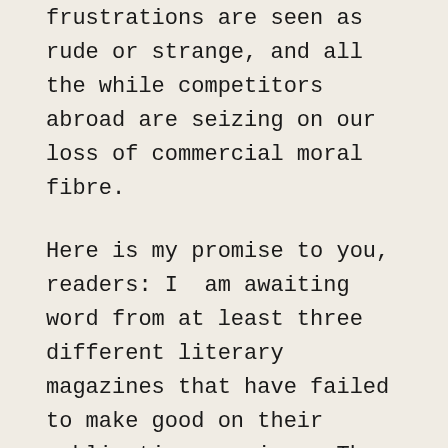frustrations are seen as rude or strange, and all the while competitors abroad are seizing on our loss of commercial moral fibre.
Here is my promise to you, readers: I am awaiting word from at least three different literary magazines that have failed to make good on their publication promises. They have repeatedly missed deadlines, and their response to these infractions has been a sort of beligerent indifference laced with adolescent-sounding excuses. If these editors and publishers continue to fail in the fulfillment of their duties, I will happily publicize their lack